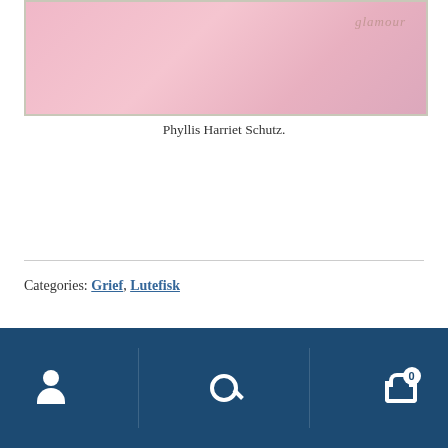[Figure (photo): Photo of pink clothing/jacket with glamour logo text, in a light gray frame]
Phyllis Harriet Schutz.
Categories: Grief, Lutefisk
Posted on January 16, 2020 by Gary Legwold — Leave a comment
Gee, Me on TV!
[Figure (photo): Photo with blue background, appears to be a TV studio or panel setting]